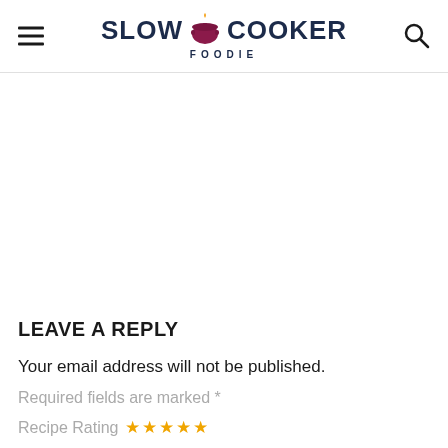SLOW COOKER FOODIE
LEAVE A REPLY
Your email address will not be published.
Required fields are marked *
Recipe Rating ☆☆☆☆☆